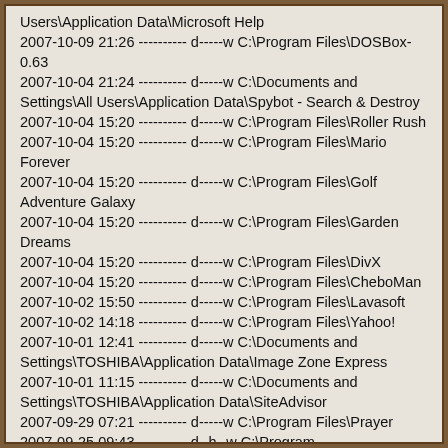Users\Application Data\Microsoft Help
2007-10-09 21:26 ---------- d-----w C:\Program Files\DOSBox-0.63
2007-10-04 21:24 ---------- d-----w C:\Documents and Settings\All Users\Application Data\Spybot - Search & Destroy
2007-10-04 15:20 ---------- d-----w C:\Program Files\Roller Rush
2007-10-04 15:20 ---------- d-----w C:\Program Files\Mario Forever
2007-10-04 15:20 ---------- d-----w C:\Program Files\Golf Adventure Galaxy
2007-10-04 15:20 ---------- d-----w C:\Program Files\Garden Dreams
2007-10-04 15:20 ---------- d-----w C:\Program Files\DivX
2007-10-04 15:20 ---------- d-----w C:\Program Files\CheboMan
2007-10-02 15:50 ---------- d-----w C:\Program Files\Lavasoft
2007-10-02 14:18 ---------- d-----w C:\Program Files\Yahoo!
2007-10-01 12:41 ---------- d-----w C:\Documents and Settings\TOSHIBA\Application Data\Image Zone Express
2007-10-01 11:15 ---------- d-----w C:\Documents and Settings\TOSHIBA\Application Data\SiteAdvisor
2007-09-29 07:21 ---------- d-----w C:\Program Files\Prayer
2007-09-25 09:43 ---------- d--h--w C:\Program Files\InstallShield Installation Information
2007-09-24 10:53 ---------- d-----w C:\Program Files\Toshiba Games
2007-09-09 16:05 ---------- d-----w C:\Documents and Settings\TOSHIBA\Application Data\Talkback
2007-09-09 18:26 ---------- d-----w C:\Program Files\SiteAdvisor